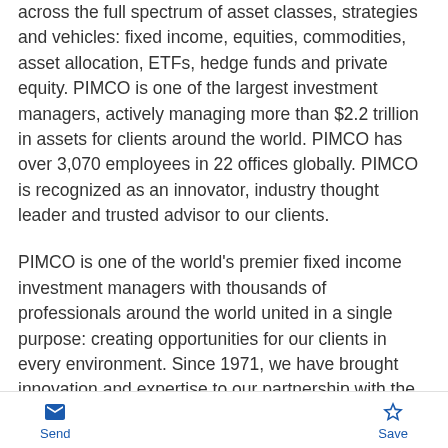across the full spectrum of asset classes, strategies and vehicles: fixed income, equities, commodities, asset allocation, ETFs, hedge funds and private equity. PIMCO is one of the largest investment managers, actively managing more than $2.2 trillion in assets for clients around the world. PIMCO has over 3,070 employees in 22 offices globally. PIMCO is recognized as an innovator, industry thought leader and trusted advisor to our clients.
PIMCO is one of the world's premier fixed income investment managers with thousands of professionals around the world united in a single purpose: creating opportunities for our clients in every environment. Since 1971, we have brought innovation and expertise to our partnership with the institutions, financial advisors and millions of
Send  Save